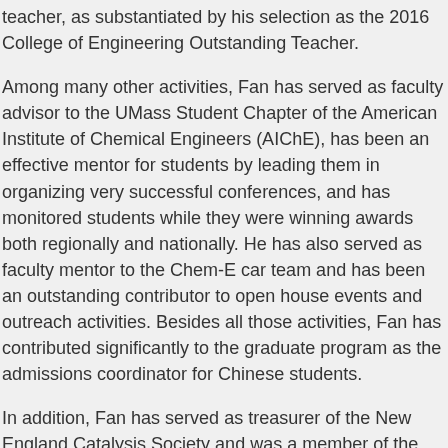teacher, as substantiated by his selection as the 2016 College of Engineering Outstanding Teacher.
Among many other activities, Fan has served as faculty advisor to the UMass Student Chapter of the American Institute of Chemical Engineers (AIChE), has been an effective mentor for students by leading them in organizing very successful conferences, and has monitored students while they were winning awards both regionally and nationally. He has also served as faculty mentor to the Chem-E car team and has been an outstanding contributor to open house events and outreach activities. Besides all those activities, Fan has contributed significantly to the graduate program as the admissions coordinator for Chinese students.
In addition, Fan has served as treasurer of the New England Catalysis Society and was a member of the organizing committee of the annual meeting of the North East Corridor Zeolite Association. Beyond that, he has been the elected programming chair for his field in AIChE and has been